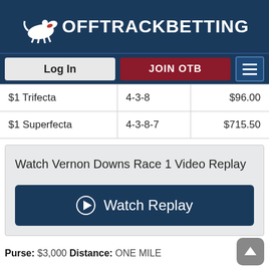[Figure (logo): OffTrackBetting logo with horse silhouette and white text on dark blue background]
[Figure (screenshot): Navigation bar with Log In button, JOIN OTB button (dark red), and hamburger menu icon on dark blue background]
| $1 Trifecta | 4-3-8 | $96.00 |
| $1 Superfecta | 4-3-8-7 | $715.50 |
Watch Vernon Downs Race 1 Video Replay
[Figure (screenshot): Dark blue Watch Replay button with play icon]
Purse: $3,000 Distance: ONE MILE